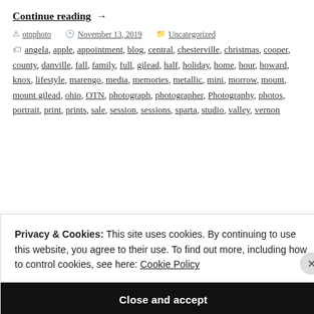Continue reading →
otnphoto  November 13, 2019  Uncategorized
angela, apple, appointment, blog, central, chesterville, christmas, cooper, county, danville, fall, family, full, gilead, half, holiday, home, hour, howard, knox, lifestyle, marengo, media, memories, metallic, mini, morrow, mount, mount gilead, ohio, OTN, photograph, photographer, Photography, photos, portrait, print, prints, sale, session, sessions, sparta, studio, valley, vernon
Privacy & Cookies: This site uses cookies. By continuing to use this website, you agree to their use. To find out more, including how to control cookies, see here: Cookie Policy
Close and accept